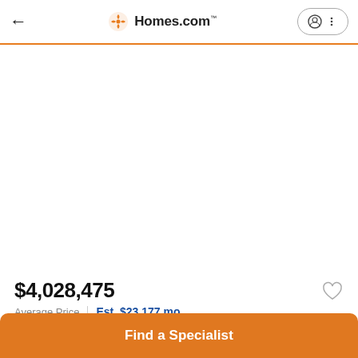← Homes.com
[Figure (photo): Blank white image area (property photo not loaded)]
$4,028,475
Average Price  |  Est. $23,177 mo
Find a Specialist